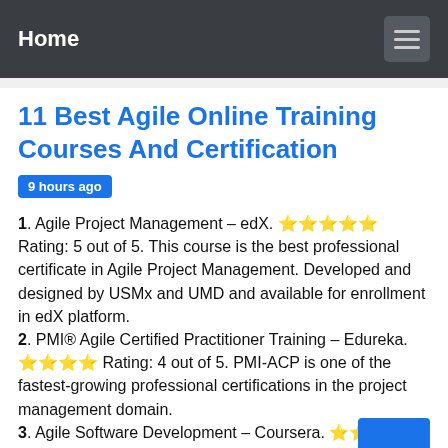Home
11 Best Agile Online Training Courses And Certification
9 hours ago
1. Agile Project Management – edX. ⭐⭐⭐⭐⭐ Rating: 5 out of 5. This course is the best professional certificate in Agile Project Management. Developed and designed by USMx and UMD and available for enrollment in edX platform.
2. PMI® Agile Certified Practitioner Training – Edureka. ⭐⭐⭐⭐ Rating: 4 out of 5. PMI-ACP is one of the fastest-growing professional certifications in the project management domain.
3. Agile Software Development – Coursera. ⭐⭐⭐⭐⭐ Rating out of 5. The University of Minnesota developed this Agile Software Development course and it is designed to Agile